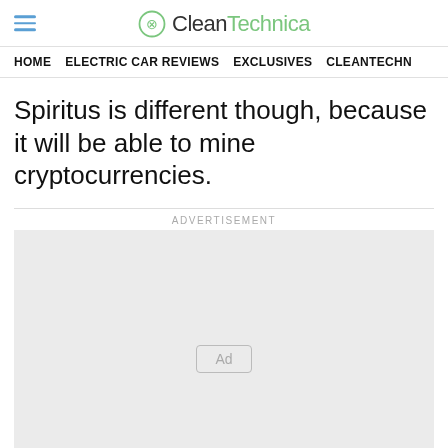CleanTechnica
HOME | ELECTRIC CAR REVIEWS | EXCLUSIVES | CLEANTECHN
Spiritus is different though, because it will be able to mine cryptocurrencies.
[Figure (other): Advertisement placeholder box with 'Ad' badge label in center]